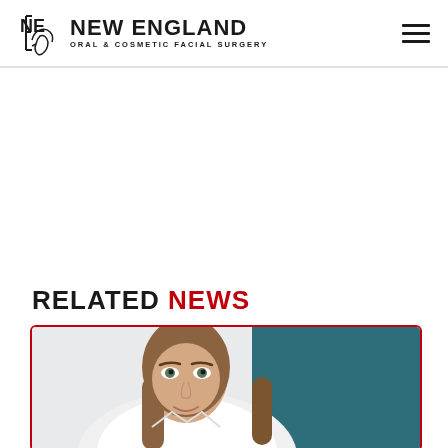NEW ENGLAND ORAL & COSMETIC FACIAL SURGERY
RELATED NEWS
[Figure (photo): A woman with straight brown hair wearing a white medical coat, smiling, photographed from approximately shoulder level up against a teal/blue background.]